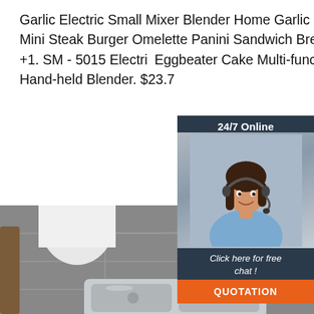Garlic Electric Small Mixer Blender Home Garlic Press. $17.58. +1. Household Mini Steak Burger Omelette Panini Sandwich Bread Barbecue Machine. $47.29. +1. SM - 5015 Electric Eggbeater Cake Multi-function Baby Food Supplement Hand-held Blender. $23.7
[Figure (other): Get Price orange button]
[Figure (other): Live chat widget overlay: shows '24/7 Online' header, photo of female customer service agent with headset, 'Click here for free chat!' text, and orange QUOTATION button. Dark navy background.]
[Figure (photo): Bottom portion: grey tiled floor with white cylindrical object on left and stainless steel sink basin visible at bottom. TOP badge logo in lower right corner.]